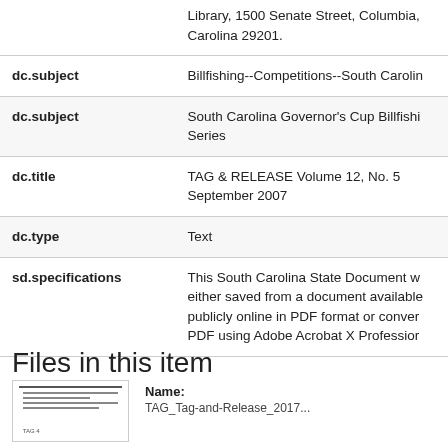| Field | Value |
| --- | --- |
|  | Library, 1500 Senate Street, Columbia, Carolina 29201. |
| dc.subject | Billfishing--Competitions--South Carolina |
| dc.subject | South Carolina Governor's Cup Billfishi Series |
| dc.title | TAG & RELEASE Volume 12, No. 5 September 2007 |
| dc.type | Text |
| sd.specifications | This South Carolina State Document w either saved from a document available publicly online in PDF format or conver PDF using Adobe Acrobat X Professior |
Files in this item
Name:
TAG_Tag-and-Release_2007...